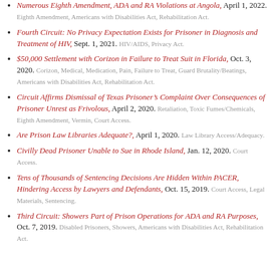Numerous Eighth Amendment, ADA and RA Violations at Angola, April 1, 2022. Eighth Amendment, Americans with Disabilities Act, Rehabilitation Act.
Fourth Circuit: No Privacy Expectation Exists for Prisoner in Diagnosis and Treatment of HIV, Sept. 1, 2021. HIV/AIDS, Privacy Act.
$50,000 Settlement with Corizon in Failure to Treat Suit in Florida, Oct. 3, 2020. Corizon, Medical, Medication, Pain, Failure to Treat, Guard Brutality/Beatings, Americans with Disabilities Act, Rehabilitation Act.
Circuit Affirms Dismissal of Texas Prisoner's Complaint Over Consequences of Prisoner Unrest as Frivolous, April 2, 2020. Retaliation, Toxic Fumes/Chemicals, Eighth Amendment, Vermin, Court Access.
Are Prison Law Libraries Adequate?, April 1, 2020. Law Library Access/Adequacy.
Civilly Dead Prisoner Unable to Sue in Rhode Island, Jan. 12, 2020. Court Access.
Tens of Thousands of Sentencing Decisions Are Hidden Within PACER, Hindering Access by Lawyers and Defendants, Oct. 15, 2019. Court Access, Legal Materials, Sentencing.
Third Circuit: Showers Part of Prison Operations for ADA and RA Purposes, Oct. 7, 2019. Disabled Prisoners, Showers, Americans with Disabilities Act, Rehabilitation Act.